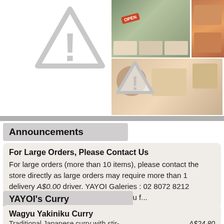[Figure (illustration): Large gray warning triangle with exclamation mark on left side of top section]
[Figure (photo): Photo grid on right: restaurant storefront with OPEN sign and menu boards, plus food/dish photos]
[Figure (illustration): Small gray warning triangle with exclamation mark overlapping photo grid]
Announcements
For Large Orders, Please Contact Us
For large orders (more than 10 items), please contact the store directly as large orders may require more than 1 delivery A$0.00 driver. YAYOI Galeries : 02 8072 8212 info@au.plenus-global.com Thank you f...
YAYOI's Curry
Wagyu Yakiniku Curry
Traditional Japanese curry with stir- A$24.80